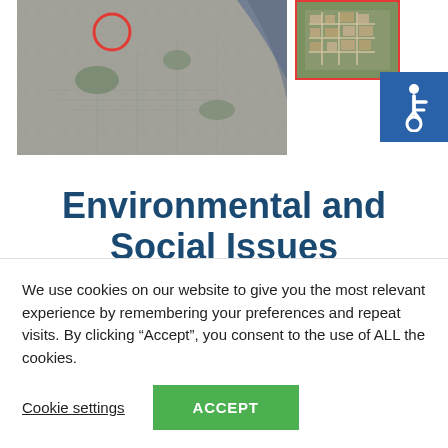[Figure (map): Grayscale satellite map of Palermo area with a red circle marking a location near the coast]
[Figure (map): Small color satellite inset map with red border showing urban area detail]
[Figure (illustration): Blue accessibility wheelchair icon on blue square background]
Environmental and Social Issues
Palermo has a sunny Mediterranean climate, in an area exposed to the cool
We use cookies on our website to give you the most relevant experience by remembering your preferences and repeat visits. By clicking “Accept”, you consent to the use of ALL the cookies.
Cookie settings
ACCEPT